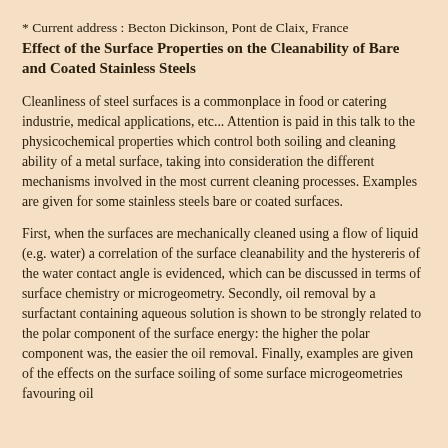* Current address : Becton Dickinson, Pont de Claix, France
Effect of the Surface Properties on the Cleanability of Bare and Coated Stainless Steels
Cleanliness of steel surfaces is a commonplace in food or catering industrie, medical applications, etc... Attention is paid in this talk to the physicochemical properties which control both soiling and cleaning ability of a metal surface, taking into consideration the different mechanisms involved in the most current cleaning processes. Examples are given for some stainless steels bare or coated surfaces.
First, when the surfaces are mechanically cleaned using a flow of liquid (e.g. water) a correlation of the surface cleanability and the hystereris of the water contact angle is evidenced, which can be discussed in terms of surface chemistry or microgeometry. Secondly, oil removal by a surfactant containing aqueous solution is shown to be strongly related to the polar component of the surface energy: the higher the polar component was, the easier the oil removal. Finally, examples are given of the effects on the surface soiling of some surface microgeometries favouring oil